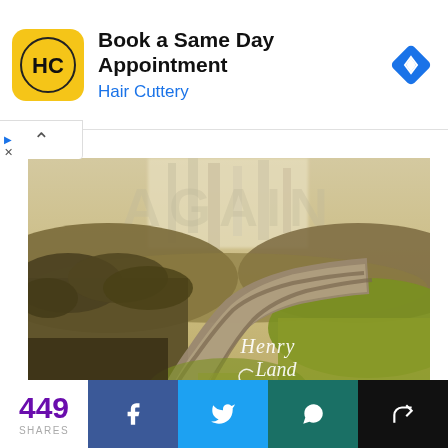[Figure (other): Hair Cuttery advertisement banner: yellow square logo with HC initials, bold text 'Book a Same Day Appointment', blue subtext 'Hair Cuttery', blue diamond navigation icon on right]
[Figure (photo): Scenic winding road through green countryside with warm sepia-toned sky. Large text 'AGAIN' visible at top. Cursive watermark 'Henry Land Remix' overlaid on the lower right of the image.]
449 SHARES
[Figure (infographic): Social share buttons: Facebook (blue), Twitter (light blue), WhatsApp (teal), Forward/share (black)]